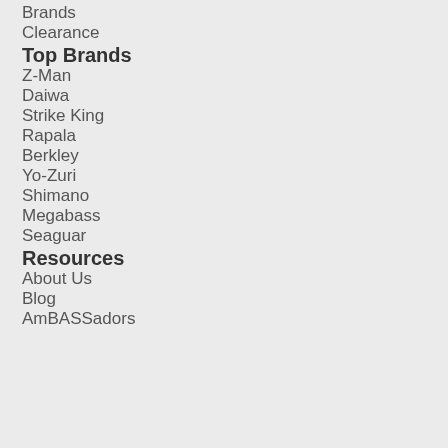Brands
Clearance
Top Brands
Z-Man
Daiwa
Strike King
Rapala
Berkley
Yo-Zuri
Shimano
Megabass
Seaguar
Resources
About Us
Blog
AmBASSadors